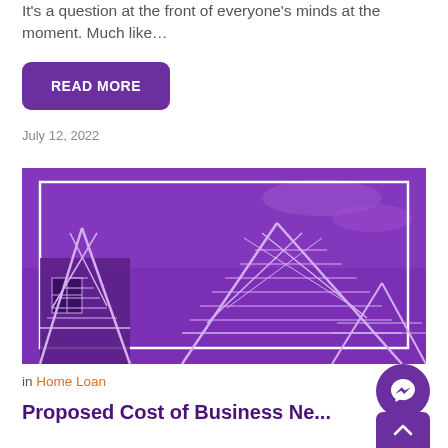It's a question at the front of everyone's minds at the moment. Much like…
READ MORE
July 12, 2022
[Figure (photo): Purple-toned photo of house construction frames against a sky background, with a white rectangular border overlay]
in Home Loan
Proposed Cost of Business Ne...